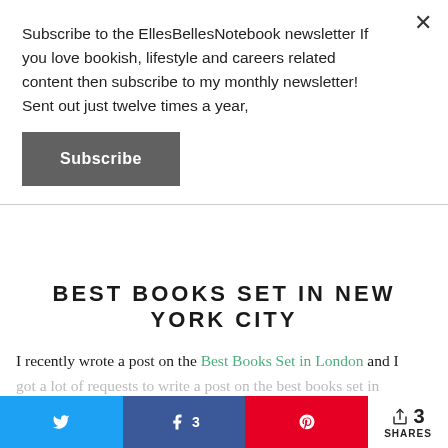Subscribe to the EllesBellesNotebook newsletter If you love bookish, lifestyle and careers related content then subscribe to my monthly newsletter! Sent out just twelve times a year,
Subscribe
BEST BOOKS SET IN NEW YORK CITY
I recently wrote a post on the Best Books Set in London and I got a lot of requests to write a post on the best books set in
3 SHARES